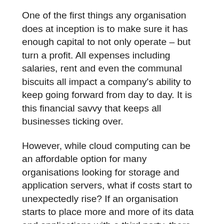One of the first things any organisation does at inception is to make sure it has enough capital to not only operate – but turn a profit. All expenses including salaries, rent and even the communal biscuits all impact a company's ability to keep going forward from day to day. It is this financial savvy that keeps all businesses ticking over.
However, while cloud computing can be an affordable option for many organisations looking for storage and application servers, what if costs start to unexpectedly rise? If an organisation starts to place more and more of its data and applications with a third party, there could come a time when the third party has to increase its costs.
Yet, because all an organisation's systems and data are stored with that third party, it might have no choice but to accept the increases, or spend even more time and money financing a migration away at